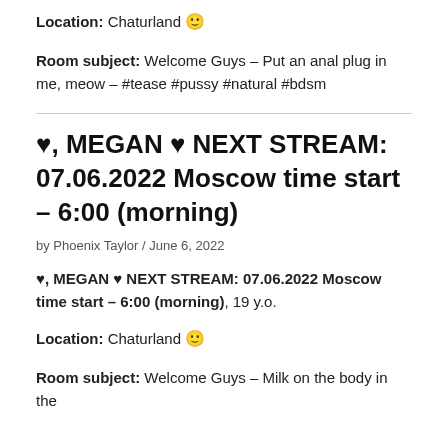Location: Chaturland 🙂
Room subject: Welcome Guys – Put an anal plug in me, meow – #tease #pussy #natural #bdsm
♥, MEGAN ♥ NEXT STREAM: 07.06.2022 Moscow time start – 6:00 (morning)
by Phoenix Taylor / June 6, 2022
♥, MEGAN ♥ NEXT STREAM: 07.06.2022 Moscow time start – 6:00 (morning), 19 y.o.
Location: Chaturland 🙂
Room subject: Welcome Guys – Milk on the body in the